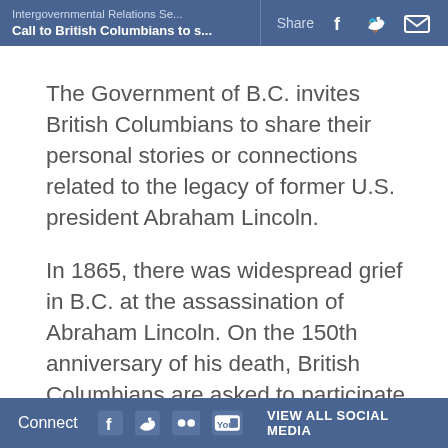Intergovernmental Relations Se... | Call to British Columbians to s... | Share
The Government of B.C. invites British Columbians to share their personal stories or connections related to the legacy of former U.S. president Abraham Lincoln.
In 1865, there was widespread grief in B.C. at the assassination of Abraham Lincoln. On the 150th anniversary of his death, British Columbians are asked to participate in the international commemoration of his life and
Connect | VIEW ALL SOCIAL MEDIA